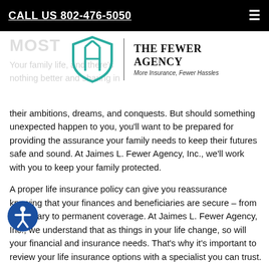CALL US 802-476-5050
[Figure (logo): The Fewer Agency logo — teal shield with initials FA, vertical divider, text 'THE FEWER AGENCY' and tagline 'More Insurance, Fewer Hassles']
their ambitions, dreams, and conquests. But should something unexpected happen to you, you'll want to be prepared for providing the assurance your family needs to keep their futures safe and sound. At Jaimes L. Fewer Agency, Inc., we'll work with you to keep your family protected.
A proper life insurance policy can give you reassurance knowing that your finances and beneficiaries are secure – from temporary to permanent coverage. At Jaimes L. Fewer Agency, Inc., we understand that as things in your life change, so will your financial and insurance needs. That's why it's important to review your life insurance options with a specialist you can trust.
Whatever your situation, we offer life insurance options